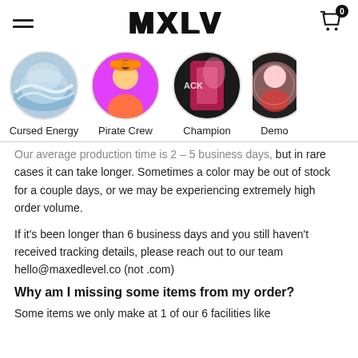MXLV
[Figure (illustration): Four circular category icons: Cursed Energy (blue/white wave anime), Pirate Crew (anime character with straw hat on pink background), Champion (pink and black anime figure), Demo (partially visible pink/black anime illustration)]
Our average production time is 2 – 5 business days, but in rare cases it can take longer. Sometimes a color may be out of stock for a couple days, or we may be experiencing extremely high order volume.
If it's been longer than 6 business days and you still haven't received tracking details, please reach out to our team hello@maxedlevel.co (not .com)
Why am I missing some items from my order?
Some items we only make at 1 of our 6 facilities like